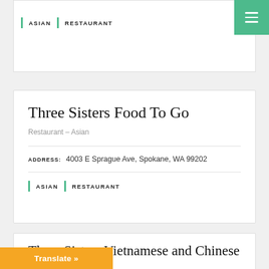ASIAN | RESTAURANT
Three Sisters Food To Go
Restaurant – Asian
ADDRESS: 4003 E Sprague Ave, Spokane, WA 99202
ASIAN | RESTAURANT
Three Sisters Vietnamese and Chinese